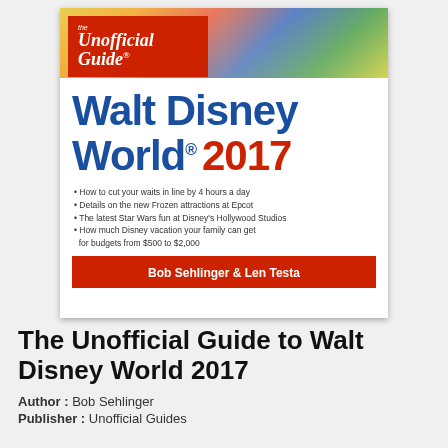[Figure (photo): Book cover of 'The Unofficial Guide to Walt Disney World 2017' by Bob Sehlinger and Len Testa. Features the Unofficial Guide red banner logo at top-left, a colorful blurred photo strip at top, large blue and red title text 'Walt Disney World 2017', bullet points listing key topics, and a red author bar at the bottom.]
The Unofficial Guide to Walt Disney World 2017
Author : Bob Sehlinger
Publisher : Unofficial Guides